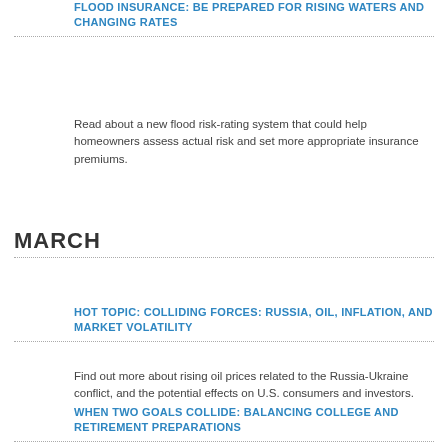FLOOD INSURANCE: BE PREPARED FOR RISING WATERS AND CHANGING RATES
Read about a new flood risk-rating system that could help homeowners assess actual risk and set more appropriate insurance premiums.
MARCH
HOT TOPIC: COLLIDING FORCES: RUSSIA, OIL, INFLATION, AND MARKET VOLATILITY
Find out more about rising oil prices related to the Russia-Ukraine conflict, and the potential effects on U.S. consumers and investors.
WHEN TWO GOALS COLLIDE: BALANCING COLLEGE AND RETIREMENT PREPARATIONS
This article discusses college financial aid and some ideas that might help fund college while maintaining a solid